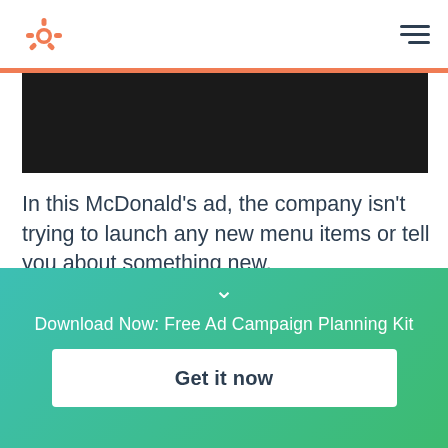HubSpot logo and navigation hamburger menu
[Figure (photo): Dark/black horizontal banner image, partially visible at top of content area]
In this McDonald's ad, the company isn't trying to launch any new menu items or tell you about something new.
Instead, they're just reminding you that the company exists. And hopefully, they made you hungry enough to
Download Now: Free Ad Campaign Planning Kit
Get it now